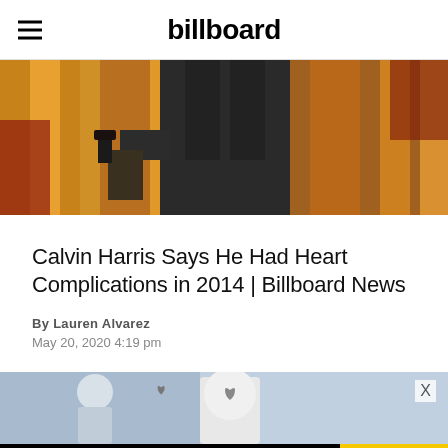billboard
[Figure (photo): Person in dark suit holding an award/trophy against colorful gold and red curtain background]
Calvin Harris Says He Had Heart Complications in 2014 | Billboard News
By Lauren Alvarez
May 20, 2020 4:19 pm
[Figure (photo): DJ or performer on stage with white mask/helmet, blue toned background]
[Figure (other): Advertisement banner: MEET AIRWEAVE - MODULAR, WASHABLE MATTRESS / SPY logo]